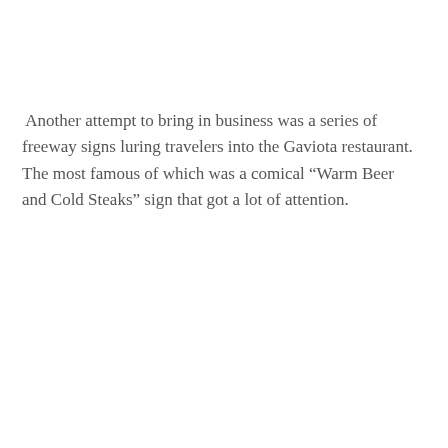Another attempt to bring in business was a series of freeway signs luring travelers into the Gaviota restaurant. The most famous of which was a comical “Warm Beer and Cold Steaks” sign that got a lot of attention.